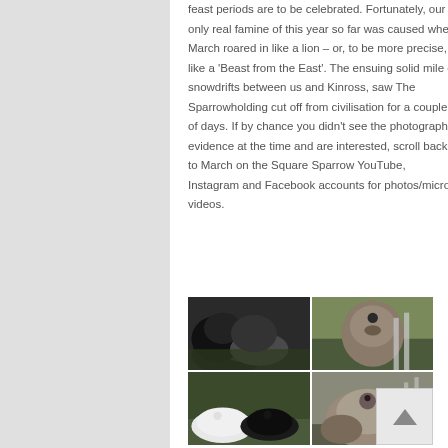feast periods are to be celebrated. Fortunately, our only real famine of this year so far was caused when March roared in like a lion – or, to be more precise, like a 'Beast from the East'. The ensuing solid mile of snowdrifts between us and Kinross, saw The Sparrowholding cut off from civilisation for a couple of days. If by chance you didn't see the photographic evidence at the time and are interested, scroll back to March on the Square Sparrow YouTube, Instagram and Facebook accounts for photos/micro-videos.
[Figure (photo): A 2×2 grid of photos showing sheep and lambs. Top-left: dark woolly sheep/lambs close-up. Top-right: a brown/grey lamb facing camera near a fence. Bottom-left: a white lamb and a black lamb lying on grass. Bottom-right: a ewe with lambs near a fence.]